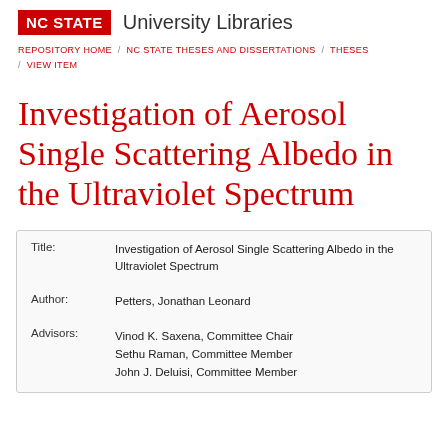NC STATE University Libraries
REPOSITORY HOME / NC STATE THESES AND DISSERTATIONS / THESES / VIEW ITEM
Investigation of Aerosol Single Scattering Albedo in the Ultraviolet Spectrum
| Field | Value |
| --- | --- |
| Title: | Investigation of Aerosol Single Scattering Albedo in the Ultraviolet Spectrum |
| Author: | Petters, Jonathan Leonard |
| Advisors: | Vinod K. Saxena, Committee Chair
Sethu Raman, Committee Member
John J. Deluisi, Committee Member |